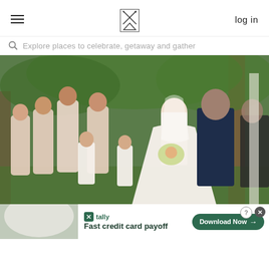hamburger menu | logo | log in
Explore places to celebrate, getaway and gather
[Figure (photo): Outdoor wedding ceremony photo showing a smiling bride in a white gown holding a bouquet of flowers, standing facing a groom in a dark navy suit, surrounded by bridesmaids in blush pink dresses and two flower girls in white dresses, with a lush green forest background.]
[Figure (photo): Partial second wedding photo showing the lower portion of the scene, partially covered by an advertisement banner.]
tally — Fast credit card payoff — Download Now →